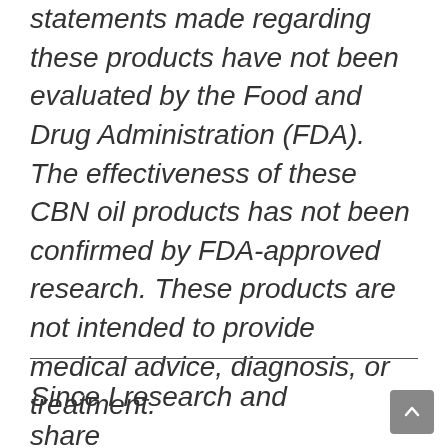statements made regarding these products have not been evaluated by the Food and Drug Administration (FDA). The effectiveness of these CBN oil products has not been confirmed by FDA-approved research. These products are not intended to provide medical advice, diagnosis, or treatment.
Since I research and share